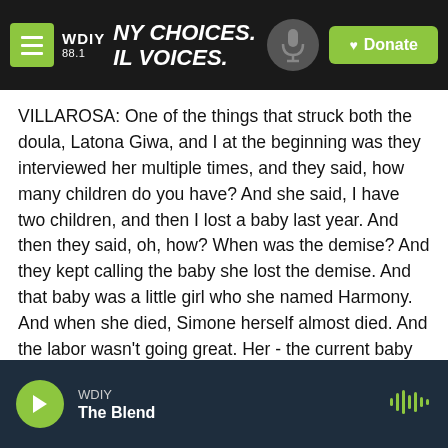WDIY 88.1 — NY CHOICES. IL VOICES. | Donate
VILLAROSA: One of the things that struck both the doula, Latona Giwa, and I at the beginning was they interviewed her multiple times, and they said, how many children do you have? And she said, I have two children, and then I lost a baby last year. And then they said, oh, how? When was the demise? And they kept calling the baby she lost the demise. And that baby was a little girl who she named Harmony. And when she died, Simone herself almost died. And the labor wasn't going great. Her - the current baby was at risk.
WDIY — The Blend